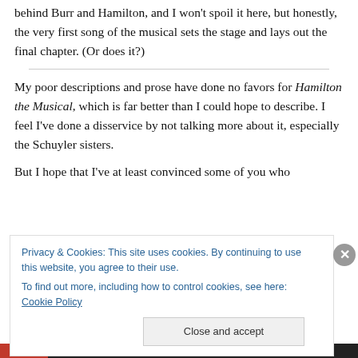There's a chance that some of you don't know the history behind Burr and Hamilton, and I won't spoil it here, but honestly, the very first song of the musical sets the stage and lays out the final chapter. (Or does it?)
My poor descriptions and prose have done no favors for Hamilton the Musical, which is far better than I could hope to describe. I feel I've done a disservice by not talking more about it, especially the Schuyler sisters.
But I hope that I've at least convinced some of you who
Privacy & Cookies: This site uses cookies. By continuing to use this website, you agree to their use.
To find out more, including how to control cookies, see here: Cookie Policy